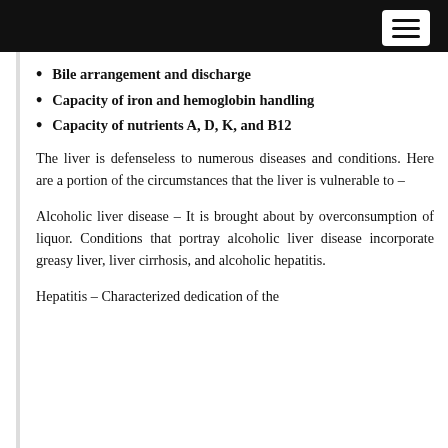Bile arrangement and discharge
Capacity of iron and hemoglobin handling
Capacity of nutrients A, D, K, and B12
The liver is defenseless to numerous diseases and conditions. Here are a portion of the circumstances that the liver is vulnerable to –
Alcoholic liver disease – It is brought about by overconsumption of liquor. Conditions that portray alcoholic liver disease incorporate greasy liver, liver cirrhosis, and alcoholic hepatitis.
Hepatitis – …